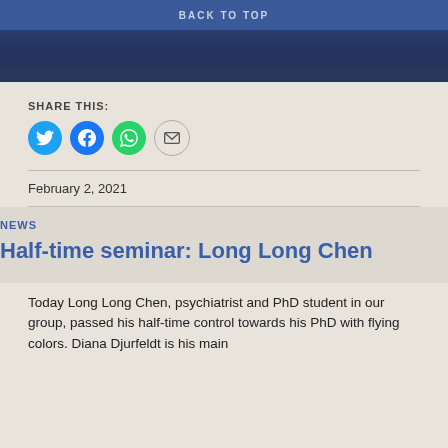[Figure (photo): Top navigation bar with 'BACK TO TOP' text on blue background, and bottom portion of a person's photo with dark blue background]
SHARE THIS:
[Figure (infographic): Social share icons: Twitter (blue circle), Facebook (blue circle), WhatsApp (green circle), Email (grey circle outline)]
February 2, 2021
NEWS
Half-time seminar: Long Long Chen
Today Long Long Chen, psychiatrist and PhD student in our group, passed his half-time control towards his PhD with flying colors. Diana Djurfeldt is his main